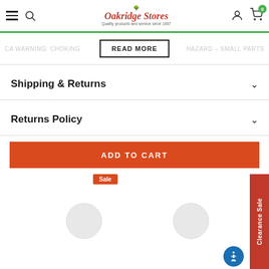Oakridge Stores — Quality products and service since 1987
CA WARNING: CHOKING HAZARD - READ MORE - small parts. Not for children under 3.
Shipping & Returns
Returns Policy
ADD TO CART
Sale
Clearance Sale